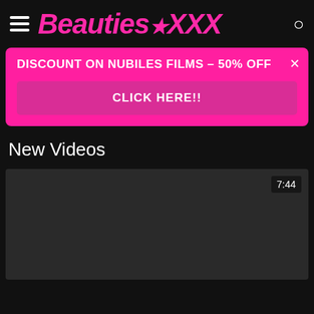Beauties.XXX
DISCOUNT ON NUBILES FILMS - 50% OFF
CLICK HERE!!
New Videos
[Figure (screenshot): Video thumbnail placeholder, dark gray, with duration badge showing 7:44 in top right corner]